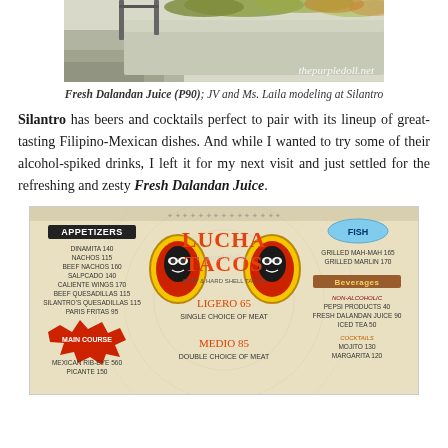[Figure (photo): Photo of an outdoor planter/ledge area, partially visible, with watermark thepurpledoll.net]
Fresh Dalandan Juice (P90); JV and Ms. Laila modeling at Silantro
Silantro has beers and cocktails perfect to pair with its lineup of great-tasting Filipino-Mexican dishes. And while I wanted to try some of their alcohol-spiked drinks, I left it for my next visit and just settled for the refreshing and zesty Fresh Dalandan Juice.
[Figure (photo): Photo of Lucha Tacos restaurant menu showing Appetizers, Main Course, Fish, Beverages sections with prices, and central Lucha Tacos logo with wrestler masks]